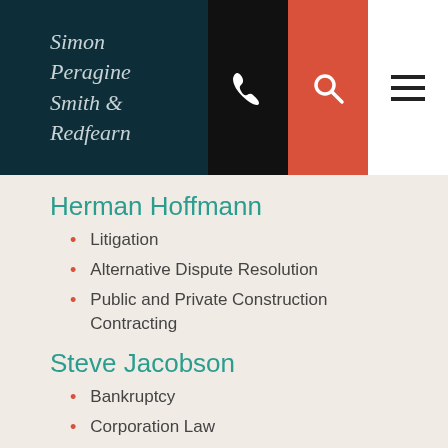Simon Peragine Smith & Redfearn
Herman Hoffmann
Litigation
Alternative Dispute Resolution
Public and Private Construction Contracting
Steve Jacobson
Bankruptcy
Corporation Law
Banking Law